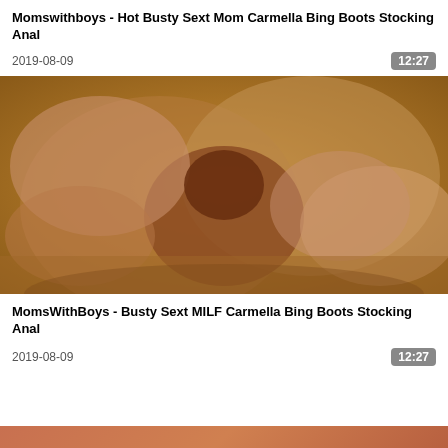Momswithboys - Hot Busty Sext Mom Carmella Bing Boots Stocking Anal
2019-08-09   12:27
[Figure (photo): Video thumbnail showing adult content]
MomsWithBoys - Busty Sext MILF Carmella Bing Boots Stocking Anal
2019-08-09   12:27